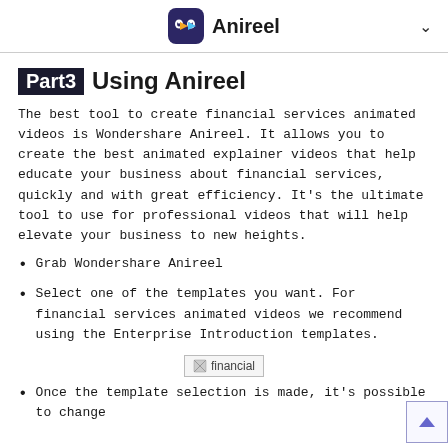Anireel
Part3 Using Anireel
The best tool to create financial services animated videos is Wondershare Anireel. It allows you to create the best animated explainer videos that help educate your business about financial services, quickly and with great efficiency. It's the ultimate tool to use for professional videos that will help elevate your business to new heights.
Grab Wondershare Anireel
Select one of the templates you want. For financial services animated videos we recommend using the Enterprise Introduction templates.
[Figure (screenshot): A broken/placeholder image labeled 'financial']
Once the template selection is made, it's possible to change